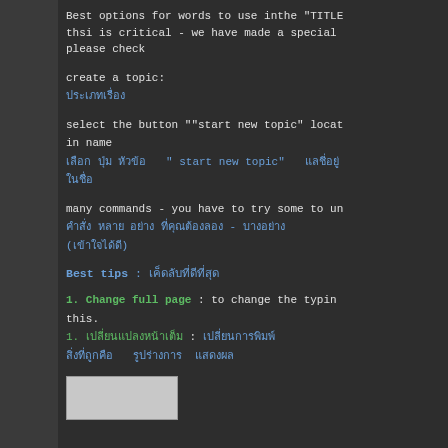Best options for words to use inthe "TITLE thsi is critical - we have made a special please check
create a topic:
ประเภทเรื่อง
select the button ""start new topic" locat in name
เลือก ปุ่ม หัวข้อ  " start new topic"  แลชี่อยู่
ในชื่อ
many commands - you have to try some to un
คำสั่ง หลาย อย่าง ที่คุณต้องลอง - บางอย่าง
(เข้าใจได้ดี)
Best tips : เคล็ดลับที่ดีที่สุด
1. Change full page  : to change the typing this.
1. เปลี่ยนแปลงหน้าเต็ม  : เปลี่ยนการพิมพ์
สิ่งที่ถูกคือ  รูปร่างการ แสดงผล
[Figure (screenshot): Screenshot of a software interface showing a toolbar or menu]